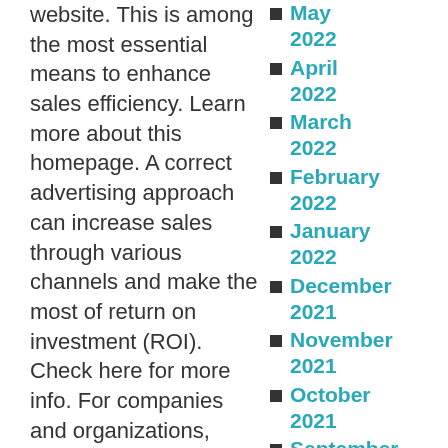website. This is among the most essential means to enhance sales efficiency. Learn more about this homepage. A correct advertising approach can increase sales through various channels and make the most of return on investment (ROI). Check here for more info. For companies and organizations, professional solutions firms provide a number of industries solutions
May 2022
April 2022
March 2022
February 2022
January 2022
December 2021
November 2021
October 2021
September 2021
August